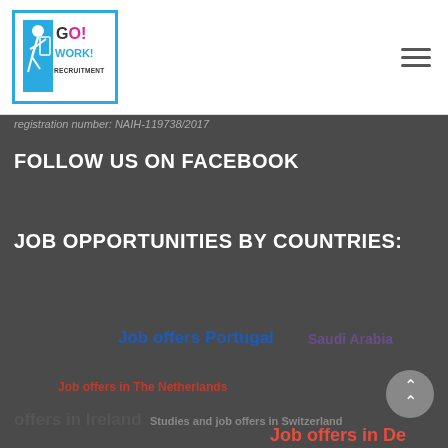[Figure (logo): Go Work Recruitment logo with blue border, running figure icon, text GO, WORK!, RECRUITMENT]
registration number: NAIH-119738/2017
FOLLOW US ON FACEBOOK
JOB OPPORTUNITIES BY COUNTRIES:
Job offers Portugal
Saudi Arabia
Job offers in The Netherlands
offers in Ireland
Studies and job offers in Switzerland
Job offers in De
Job offers in Cyprus
Job offers for Chefs